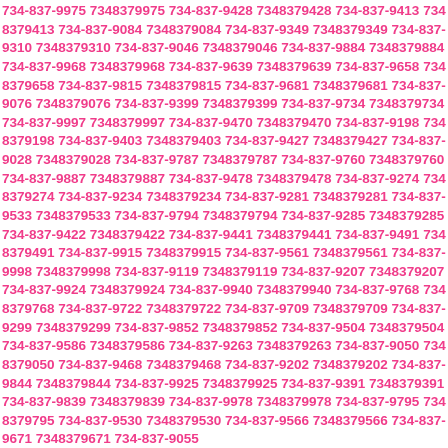734-837-9975 7348379975 734-837-9428 7348379428 734-837-9413 7348379413 734-837-9084 7348379084 734-837-9349 7348379349 734-837-9310 7348379310 734-837-9046 7348379046 734-837-9884 7348379884 734-837-9968 7348379968 734-837-9639 7348379639 734-837-9658 7348379658 734-837-9815 7348379815 734-837-9681 7348379681 734-837-9076 7348379076 734-837-9399 7348379399 734-837-9734 7348379734 734-837-9997 7348379997 734-837-9470 7348379470 734-837-9198 7348379198 734-837-9403 7348379403 734-837-9427 7348379427 734-837-9028 7348379028 734-837-9787 7348379787 734-837-9760 7348379760 734-837-9887 7348379887 734-837-9478 7348379478 734-837-9274 7348379274 734-837-9234 7348379234 734-837-9281 7348379281 734-837-9533 7348379533 734-837-9794 7348379794 734-837-9285 7348379285 734-837-9422 7348379422 734-837-9441 7348379441 734-837-9491 7348379491 734-837-9915 7348379915 734-837-9561 7348379561 734-837-9998 7348379998 734-837-9119 7348379119 734-837-9207 7348379207 734-837-9924 7348379924 734-837-9940 7348379940 734-837-9768 7348379768 734-837-9722 7348379722 734-837-9709 7348379709 734-837-9299 7348379299 734-837-9852 7348379852 734-837-9504 7348379504 734-837-9586 7348379586 734-837-9263 7348379263 734-837-9050 7348379050 734-837-9468 7348379468 734-837-9202 7348379202 734-837-9844 7348379844 734-837-9925 7348379925 734-837-9391 7348379391 734-837-9839 7348379839 734-837-9978 7348379978 734-837-9795 7348379795 734-837-9530 7348379530 734-837-9566 7348379566 734-837-9671 7348379671 734-837-9055